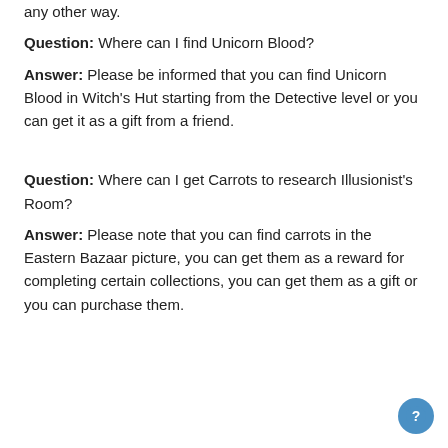any other way.
Question: Where can I find Unicorn Blood?
Answer: Please be informed that you can find Unicorn Blood in Witch's Hut starting from the Detective level or you can get it as a gift from a friend.
Question: Where can I get Carrots to research Illusionist's Room?
Answer: Please note that you can find carrots in the Eastern Bazaar picture, you can get them as a reward for completing certain collections, you can get them as a gift or you can purchase them.